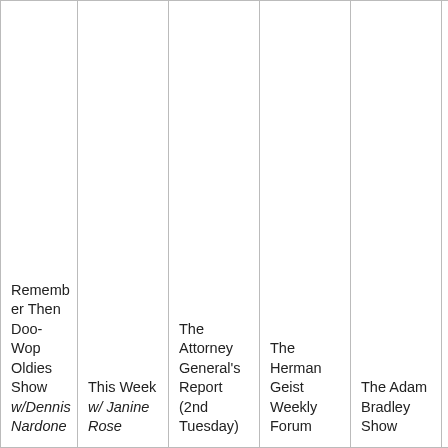| Remember Then Doo-Wop Oldies Show w/Dennis Nardone | This Week w/ Janine Rose | The Attorney General's Report (2nd Tuesday) | The Herman Geist Weekly Forum | The Adam Bradley Show | Fi... Fr... w/... ey... Go... (1... Yo... Co... ni... Ac... w/... |